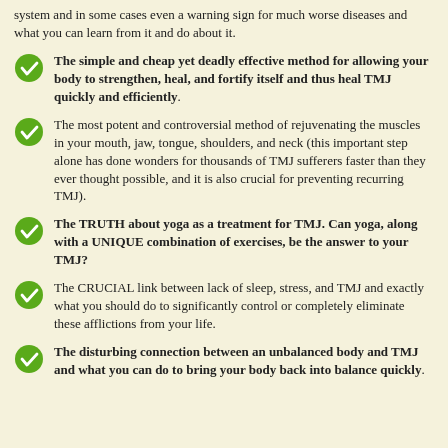system and in some cases even a warning sign for much worse diseases and what you can learn from it and do about it.
The simple and cheap yet deadly effective method for allowing your body to strengthen, heal, and fortify itself and thus heal TMJ quickly and efficiently.
The most potent and controversial method of rejuvenating the muscles in your mouth, jaw, tongue, shoulders, and neck (this important step alone has done wonders for thousands of TMJ sufferers faster than they ever thought possible, and it is also crucial for preventing recurring TMJ).
The TRUTH about yoga as a treatment for TMJ. Can yoga, along with a UNIQUE combination of exercises, be the answer to your TMJ?
The CRUCIAL link between lack of sleep, stress, and TMJ and exactly what you should do to significantly control or completely eliminate these afflictions from your life.
The disturbing connection between an unbalanced body and TMJ and what you can do to bring your body back into balance quickly.